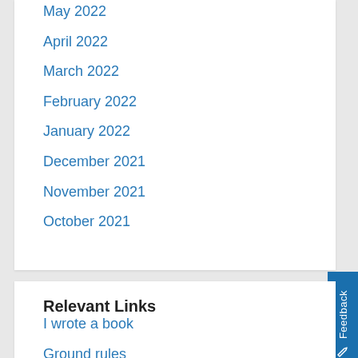May 2022
April 2022
March 2022
February 2022
January 2022
December 2021
November 2021
October 2021
Relevant Links
I wrote a book
Ground rules
Disclaimers and such
My necktie's Twitter